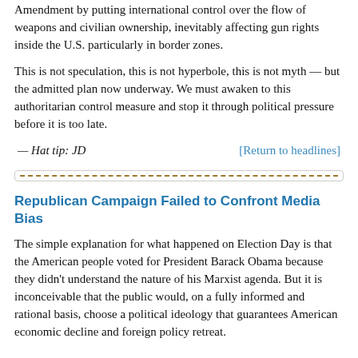Amendment by putting international control over the flow of weapons and civilian ownership, inevitably affecting gun rights inside the U.S. particularly in border zones.
This is not speculation, this is not hyperbole, this is not myth — but the admitted plan now underway. We must awaken to this authoritarian control measure and stop it through political pressure before it is too late.
— Hat tip: JD    [Return to headlines]
[Figure (other): Horizontal dashed brown divider line inside a light gray bordered box]
Republican Campaign Failed to Confront Media Bias
The simple explanation for what happened on Election Day is that the American people voted for President Barack Obama because they didn't understand the nature of his Marxist agenda. But it is inconceivable that the public would, on a fully informed and rational basis, choose a political ideology that guarantees American economic decline and foreign policy retreat.